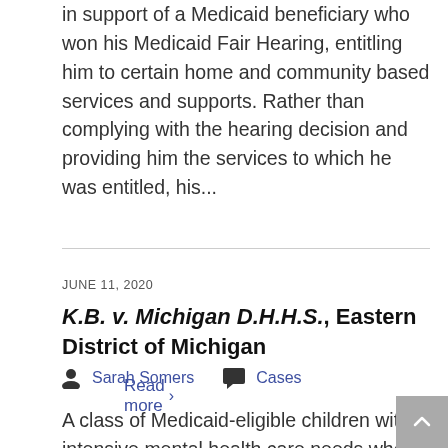in support of a Medicaid beneficiary who won his Medicaid Fair Hearing, entitling him to certain home and community based services and supports. Rather than complying with the hearing decision and providing him the services to which he was entitled, his...
Read more >
JUNE 11, 2020
K.B. v. Michigan D.H.H.S., Eastern District of Michigan
Sarah Somers   Cases
A class of Medicaid-eligible children with intensive mental health care needs who are at